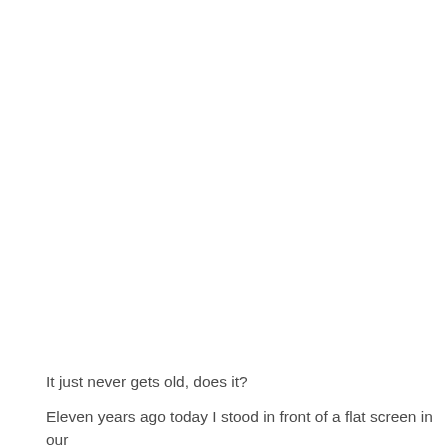It just never gets old, does it?
Eleven years ago today I stood in front of a flat screen in our